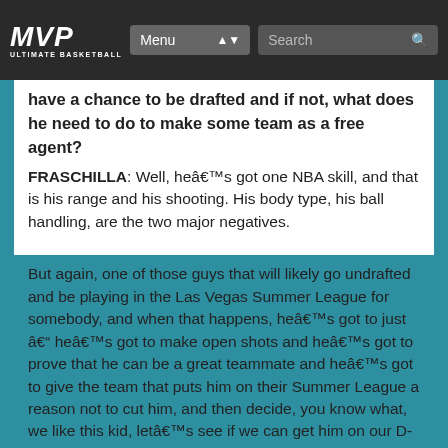MVP Ultimate Basketball — Menu | Search
have a chance to be drafted and if not, what does he need to do to make some team as a free agent?
FRASCHILLA: Well, he’s got one NBA skill, and that is his range and his shooting. His body type, his ball handling, are the two major negatives.
But again, one of those guys that will likely go undrafted and be playing in the Las Vegas Summer League for somebody, and when that happens, he’s got to just — he’s got to make open shots and he’s got to prove that he can be a great teammate and he’s got to give the team that puts him on their Summer League a reason not to cut him, and then decide, you know what, we like this kid, let’s see if we can get him on our D-League team.